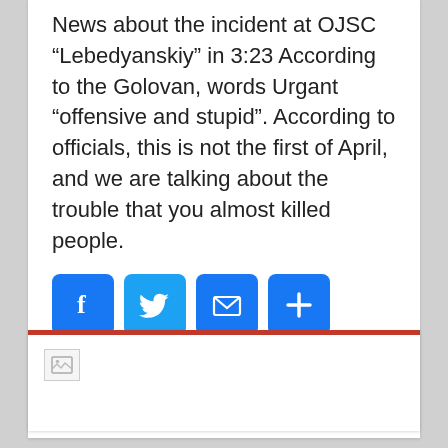News about the incident at OJSC “Lebedyanskiy” in 3:23 According to the Golovan, words Urgant “offensive and stupid”. According to officials, this is not the first of April, and we are talking about the trouble that you almost killed people.
[Figure (other): Social share buttons: Facebook (blue), Twitter (light blue), Email (blue), More/Plus (blue)]
Continue reading »
[Figure (other): Broken/placeholder image icon in a bordered box]